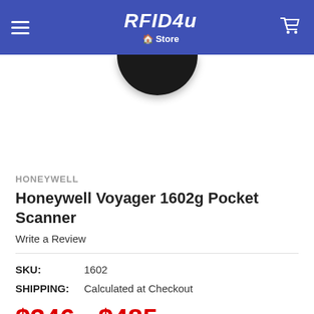RFID4u Store
[Figure (photo): Top portion of a black Honeywell Voyager 1602g pocket scanner visible at the top of the product image area]
HONEYWELL
Honeywell Voyager 1602g Pocket Scanner
Write a Review
SKU:  1602
SHIPPING:  Calculated at Checkout
$346 - $485